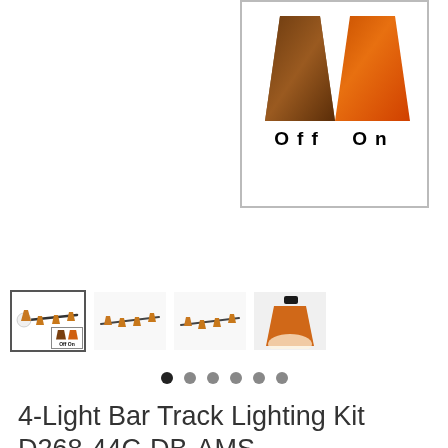[Figure (photo): Product image showing two lamp shades side-by-side labeled Off and On. Off shade appears darker/brown, On shade appears amber/orange when lit. Shown in a bordered box.]
[Figure (photo): Row of four product thumbnail images showing the 4-Light Bar Track Lighting Kit from different angles and a close-up of a single lamp shade.]
[Figure (other): Pagination indicator dots, 6 dots with first dot filled dark indicating current image.]
4-Light Bar Track Lighting Kit D268-44C-DB-AMS